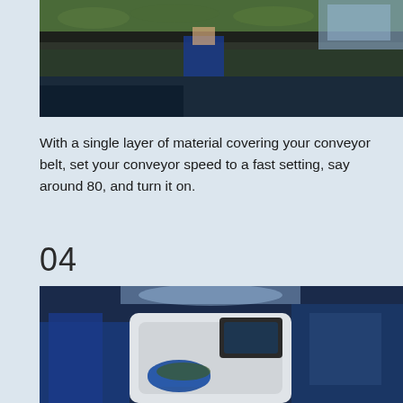[Figure (photo): Workers in blue uniforms handling plant material on a conveyor belt system in an industrial processing facility]
With a single layer of material covering your conveyor belt, set your conveyor speed to a fast setting, say around 80, and turn it on.
04
[Figure (photo): Workers in blue gloves and uniforms operating a weighing or processing machine with plant material in an industrial facility]